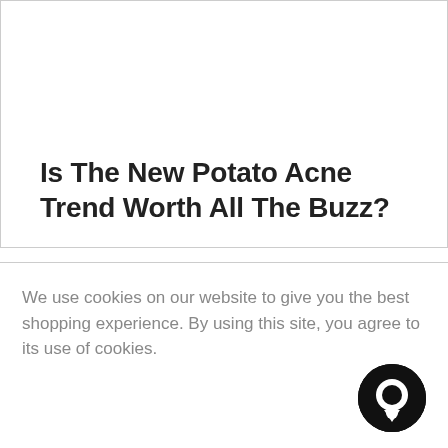Is The New Potato Acne Trend Worth All The Buzz?
We use cookies on our website to give you the best shopping experience. By using this site, you agree to its use of cookies.